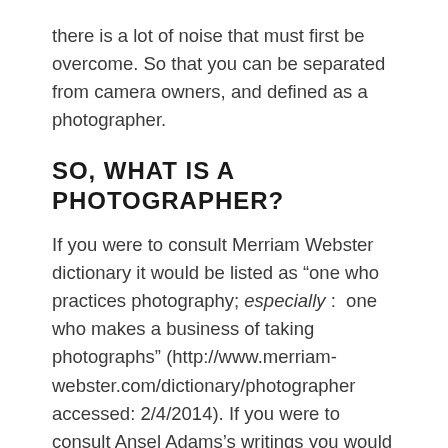there is a lot of noise that must first be overcome. So that you can be separated from camera owners, and defined as a photographer.
SO, WHAT IS A PHOTOGRAPHER?
If you were to consult Merriam Webster dictionary it would be listed as “one who practices photography; especially :  one who makes a business of taking photographs” (http://www.merriam-webster.com/dictionary/photographer accessed: 2/4/2014). If you were to consult Ansel Adams’s writings you would find a